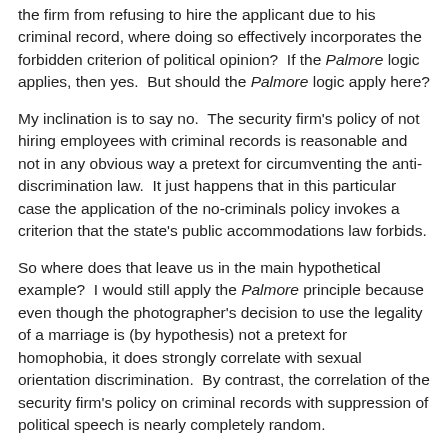the firm from refusing to hire the applicant due to his criminal record, where doing so effectively incorporates the forbidden criterion of political opinion? If the Palmore logic applies, then yes. But should the Palmore logic apply here?
My inclination is to say no. The security firm's policy of not hiring employees with criminal records is reasonable and not in any obvious way a pretext for circumventing the anti-discrimination law. It just happens that in this particular case the application of the no-criminals policy invokes a criterion that the state's public accommodations law forbids.
So where does that leave us in the main hypothetical example? I would still apply the Palmore principle because even though the photographer's decision to use the legality of a marriage is (by hypothesis) not a pretext for homophobia, it does strongly correlate with sexual orientation discrimination. By contrast, the correlation of the security firm's policy on criminal records with suppression of political speech is nearly completely random.
Michael C. Dorf at 12:06 AM